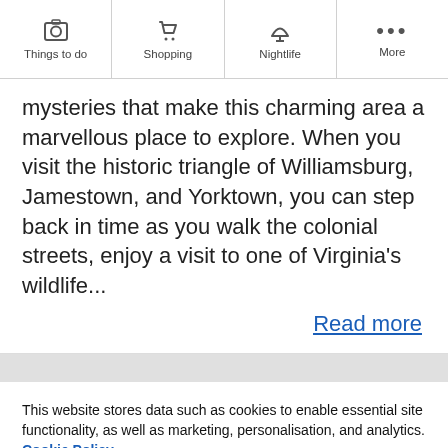Things to do | Shopping | Nightlife | More
mysteries that make this charming area a marvellous place to explore. When you visit the historic triangle of Williamsburg, Jamestown, and Yorktown, you can step back in time as you walk the colonial streets, enjoy a visit to one of Virginia's wildlife...
Read more
This website stores data such as cookies to enable essential site functionality, as well as marketing, personalisation, and analytics. Cookie Policy
ACCEPT